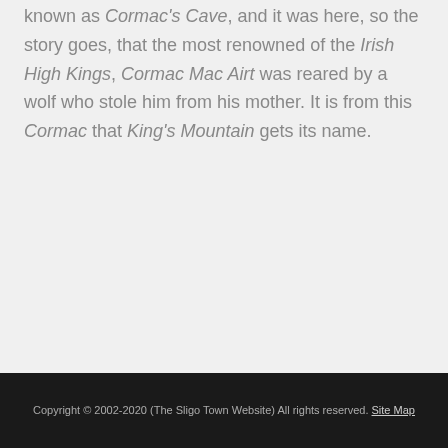known as Cormac's Cave, and it was here, so the story goes, that the most renowned of the Irish High Kings, Cormac Mac Airt was reared by a wolf who stole him from his mother. It is from this Cormac that King's Mountain gets its name.
Copyright © 2002-2020 (The Sligo Town Website) All rights reserved. Site Map